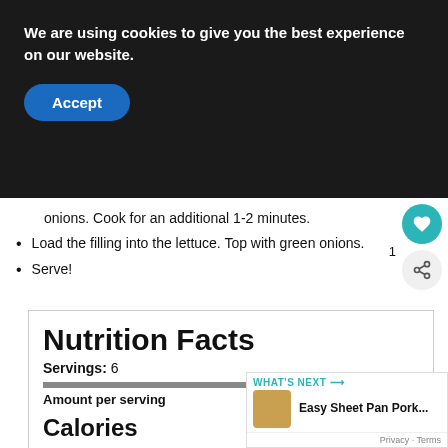We are using cookies to give you the best experience on our website. Accept
onions. Cook for an additional 1-2 minutes.
Load the filling into the lettuce. Top with green onions.
Serve!
| Nutrient | Amount | % Daily Value |
| --- | --- | --- |
| Servings: | 6 |  |
| Calories |  | 204 |
| Total Fat | 8.4g | 11% |
| Saturated Fat | 2.1g | 10% |
| Cholesterol | 87mg | 29% |